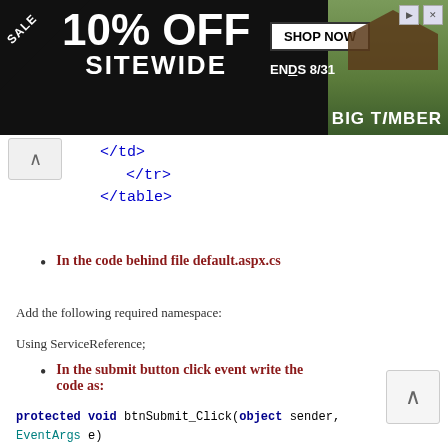[Figure (screenshot): Advertisement banner: SALE 10% OFF SITEWIDE, SHOP NOW, ENDS 8/31, BIG TIMBER, with a gazebo photo]
</td>
</tr>
</table>
In the code behind file default.aspx.cs
Add the following required namespace:
Using ServiceReference;
In the submit button click event write the code as:
protected void btnSubmit_Click(object sender, EventArgs e)
{
    ServiceReference1.ServiceClient obj
= new ServiceReference1.ServiceClient();